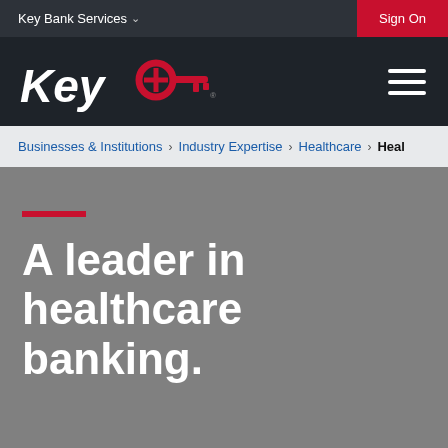Key Bank Services  Sign On
[Figure (logo): KeyBank logo with red key icon and white italic 'Key' text on dark background]
Businesses & Institutions > Industry Expertise > Healthcare > Heal
A leader in healthcare banking.